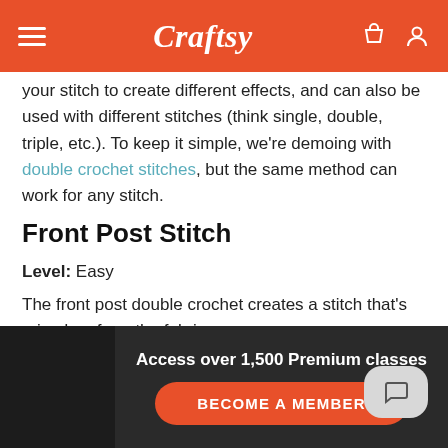Craftsy
your stitch to create different effects, and can also be used with different stitches (think single, double, triple, etc.). To keep it simple, we're demoing with double crochet stitches, but the same method can work for any stitch.
Front Post Stitch
Level: Easy
The front post double crochet creates a stitch that's raised up from the fabric.
Instructions
Access over 1,500 Premium classes
BECOME A MEMBER